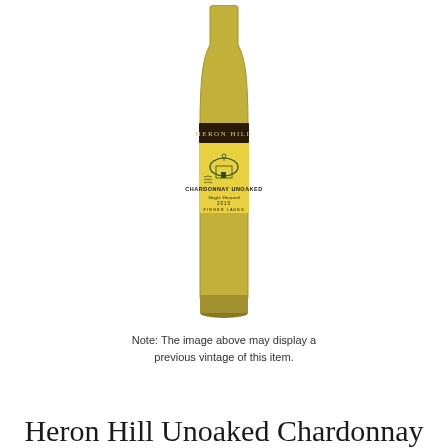[Figure (photo): A bottle of Heron Hill Chardonnay Unoaked Single Vineyard wine with a yellow label featuring a domed building illustration and dark band at top reading HERON HILL. Label reads CHARDONNAY UNOAKED, Single Vineyard, 2015, FINGER LAKES.]
Note: The image above may display a previous vintage of this item.
Heron Hill Unoaked Chardonnay